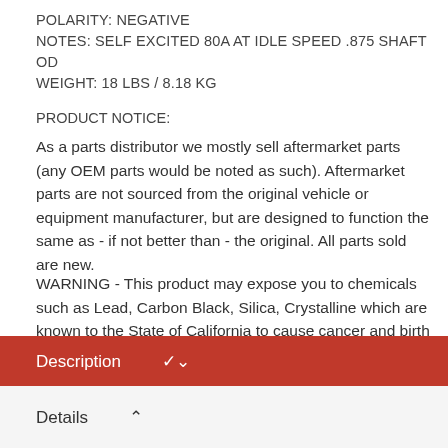POLARITY: NEGATIVE
NOTES: SELF EXCITED 80A AT IDLE SPEED .875 SHAFT OD
WEIGHT: 18 LBS / 8.18 KG
PRODUCT NOTICE:
As a parts distributor we mostly sell aftermarket parts (any OEM parts would be noted as such). Aftermarket parts are not sourced from the original vehicle or equipment manufacturer, but are designed to function the same as - if not better than - the original. All parts sold are new.
WARNING - This product may expose you to chemicals such as Lead, Carbon Black, Silica, Crystalline which are known to the State of California to cause cancer and birth defects or other reproductive harm. For more information go to www.P65Warnings.ca.gov
Description ▾
Details ▴